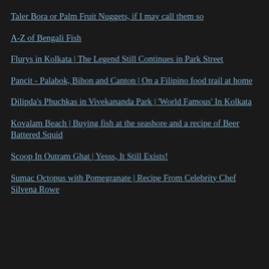Taler Bora or Palm Fruit Nuggets, if I may call them so
A-Z of Bengali Fish
Flurys in Kolkata | The Legend Still Continues in Park Street
Pancit - Palabok, Bihon and Canton | On a Filipino food trail at home
Dilipda's Phuchkas in Vivekananda Park | 'World Famous' In Kolkata
Kovalam Beach | Buying fish at the seashore and a recipe of Beer Battered Squid
Scoop In Outram Ghat | Yesss, It Still Exists!
Sumac Octopus with Pomegranate | Recipe From Celebrity Chef Silvena Rowe